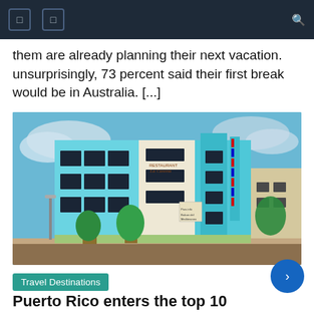[Navigation bar with menu icons and search]
them are already planning their next vacation. unsurprisingly, 73 percent said their first break would be in Australia. [...]
[Figure (photo): A bright light-blue multi-story building with large windows and a restaurant sign reading 'Restaurant La Casona', with colorful vertical signage on the right side and trees and another building visible in the background, under a partly cloudy sky.]
Travel Destinations
Puerto Rico enters the top 10 travel destinations in the United States | Business